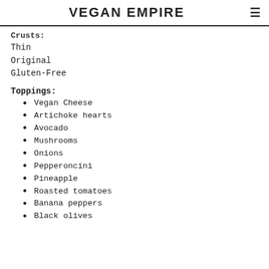VEGAN EMPIRE
Crusts:
Thin
Original
Gluten-Free
Toppings:
Vegan Cheese
Artichoke hearts
Avocado
Mushrooms
Onions
Pepperoncini
Pineapple
Roasted tomatoes
Banana peppers
Black olives